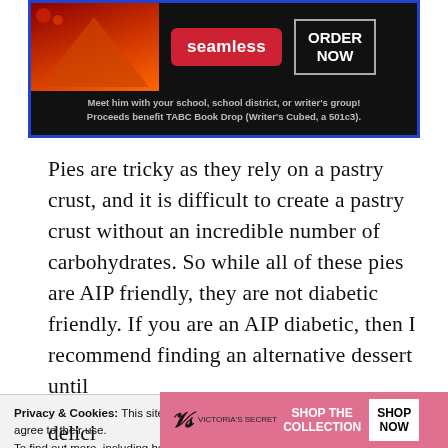[Figure (screenshot): Advertisement banner: Seamless food ordering with pizza image on the left, red Seamless logo button, and ORDER NOW button. Below: text 'Meet him with your school, school district, or writer's group! Proceeds benefit TABC Book Drop (Writer's Cubed, a 501c3).' Bordered in blue.]
Pies are tricky as they rely on a pastry crust, and it is difficult to create a pastry crust without an incredible number of carbohydrates. So while all of these pies are AIP friendly, they are not diabetic friendly. If you are an AIP diabetic, then I recommend finding an alternative dessert until
[Figure (screenshot): Privacy & Cookies notice banner: 'Privacy & Cookies: This site uses cookies. By continuing to use this website, you agree to their use. To find out more, including how to control cookies, see here: Cookie Policy' with a CLOSE button and an Accept button partially visible. Below: Victoria's Secret advertisement banner with model, VS logo, SHOP THE COLLECTION text, and SHOP NOW button.]